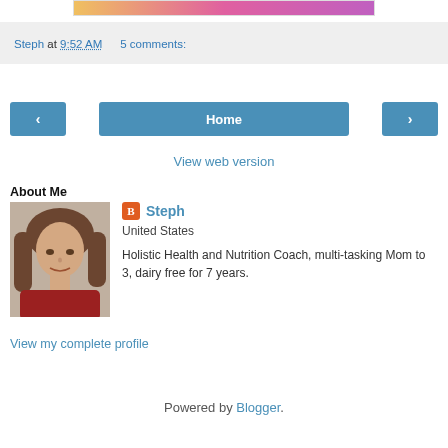[Figure (photo): Partial image strip at top showing colorful flowers (yellow, pink, purple)]
Steph at 9:52 AM    5 comments:
[Figure (other): Navigation buttons: left arrow, Home, right arrow]
View web version
About Me
[Figure (photo): Profile photo of a woman with brown hair wearing a red top]
Steph
United States
Holistic Health and Nutrition Coach, multi-tasking Mom to 3, dairy free for 7 years.
View my complete profile
Powered by Blogger.